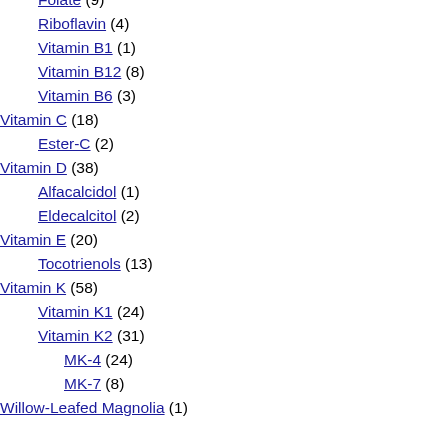Folate (9)
Riboflavin (4)
Vitamin B1 (1)
Vitamin B12 (8)
Vitamin B6 (3)
Vitamin C (18)
Ester-C (2)
Vitamin D (38)
Alfacalcidol (1)
Eldecalcitol (2)
Vitamin E (20)
Tocotrienols (13)
Vitamin K (58)
Vitamin K1 (24)
Vitamin K2 (31)
MK-4 (24)
MK-7 (8)
Willow-Leafed Magnolia (1)